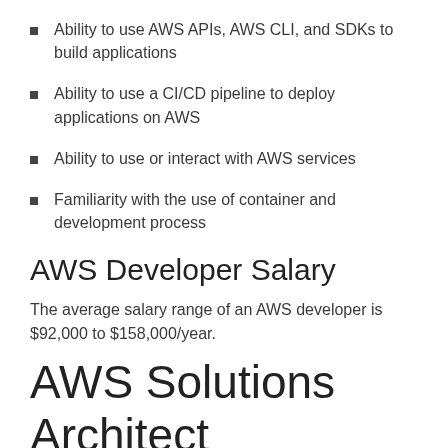Ability to use AWS APIs, AWS CLI, and SDKs to build applications
Ability to use a CI/CD pipeline to deploy applications on AWS
Ability to use or interact with AWS services
Familiarity with the use of container and development process
AWS Developer Salary
The average salary range of an AWS developer is $92,000 to $158,000/year.
AWS Solutions Architect
An AWS Solutions Architect deals with solution designing